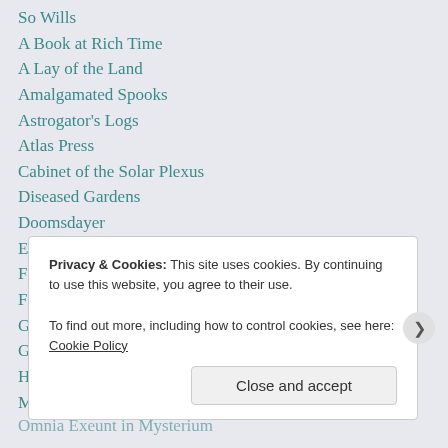So Wills
A Book at Rich Time
A Lay of the Land
Amalgamated Spooks
Astrogator's Logs
Atlas Press
Cabinet of the Solar Plexus
Diseased Gardens
Doomsdayer
Expressionismus in Deutschland
Feuilleton
Frank Zumbach's Mysterious World
Gaslight
Golden Age Site
Hish, Lord of Silence.
Marooned Off Vesta
Omnia Exeunt in Mysterium
Privacy & Cookies: This site uses cookies. By continuing to use this website, you agree to their use.
To find out more, including how to control cookies, see here: Cookie Policy
Close and accept